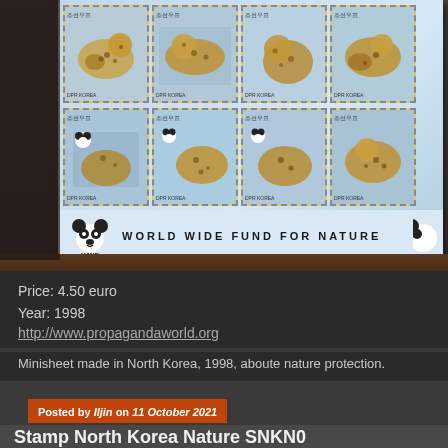[Figure (photo): WWF stamp minisheet from North Korea 1998, showing leopard stamps in a 4x2 grid with WWF World Wide Fund for Nature branding at the bottom, placed on a dark wooden surface]
Price: 4.50 euro
Year: 1998
http://www.propagandaworld.org
Minisheet made in North Korea, 1998, aboute nature protection.
Posted by Iljin on 11 October 2021
Stamp North Korea Nature SNKN0...